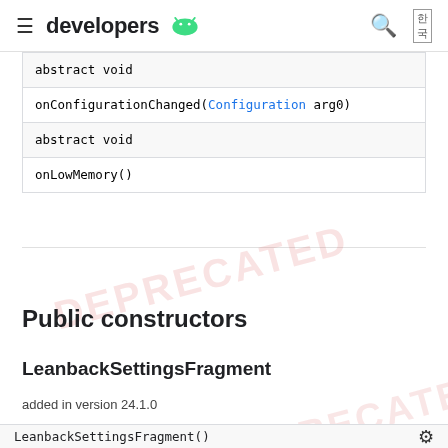developers [Android logo]
| abstract void |
| onConfigurationChanged(Configuration arg0) |
| abstract void |
| onLowMemory() |
Public constructors
LeanbackSettingsFragment
added in version 24.1.0
LeanbackSettingsFragment()